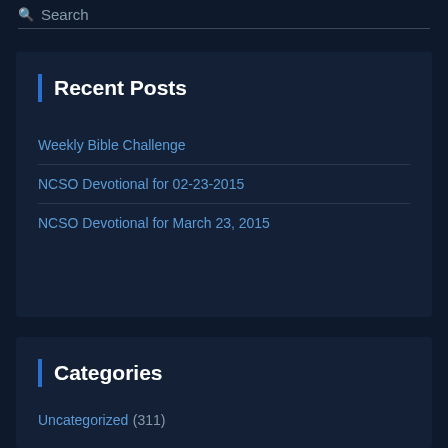Search
Recent Posts
Weekly Bible Challenge
NCSO Devotional for 02-23-2015
NCSO Devotional for March 23, 2015
Categories
Uncategorized (311)